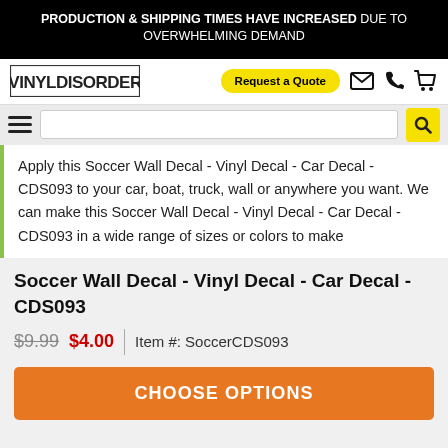PRODUCTION & SHIPPING TIMES HAVE INCREASED DUE TO OVERWHELMING DEMAND
[Figure (logo): Vinyl Disorder logo in bold blocky text with border]
Request a Quote
Apply this Soccer Wall Decal - Vinyl Decal - Car Decal - CDS093 to your car, boat, truck, wall or anywhere you want. We can make this Soccer Wall Decal - Vinyl Decal - Car Decal - CDS093 in a wide range of sizes or colors to make
Soccer Wall Decal - Vinyl Decal - Car Decal - CDS093
$9.99  $4.00  |  Item #: SoccerCDS093
CHOOSE OPTIONS